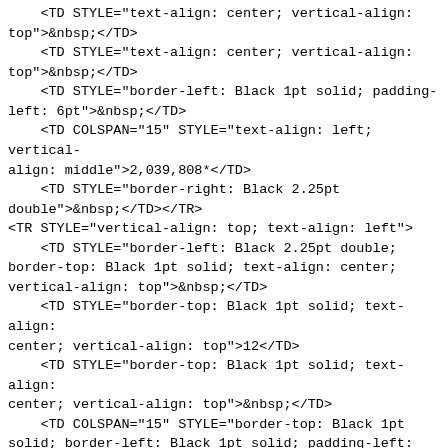<TD STYLE="text-align: center; vertical-align: top">&nbsp;</TD>
    <TD STYLE="text-align: center; vertical-align: top">&nbsp;</TD>
    <TD STYLE="border-left: Black 1pt solid; padding-left: 6pt">&nbsp;</TD>
    <TD COLSPAN="15" STYLE="text-align: left; vertical-align: middle">2,039,808*</TD>
    <TD STYLE="border-right: Black 2.25pt double">&nbsp;</TD></TR>
<TR STYLE="vertical-align: top; text-align: left">
    <TD STYLE="border-left: Black 2.25pt double; border-top: Black 1pt solid; text-align: center; vertical-align: top">&nbsp;</TD>
    <TD STYLE="border-top: Black 1pt solid; text-align: center; vertical-align: top">12</TD>
    <TD STYLE="border-top: Black 1pt solid; text-align: center; vertical-align: top">&nbsp;</TD>
    <TD COLSPAN="15" STYLE="border-top: Black 1pt solid; border-left: Black 1pt solid; padding-left: 6pt">CHECK BOX IF THE AGGREGATE AMOUNT IN ROW (11) EXCLUDES CERTAIN SHARES</TD>
    <TD COLSPAN="2" STYLE="border-top: Black 1pt solid; border-right: Black 2.25pt double">&nbsp;&nbsp;&nbsp;&nbsp;&#9744;</TD></TR>
<TR STYLE="vertical-align: top; text-align: left">
    <TD STYLE="border-left: Black 2.25pt double; text-align: center; vertical-align: top">&nbsp;</TD>
    <TD STYLE="text-align: center; vertical-align: top">&nbsp;</TD>
    <TD STYLE="text-align: center; vertical-align: